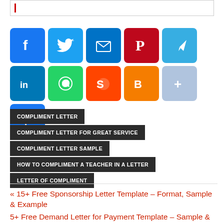[Figure (screenshot): Search box with red cursor]
[Figure (infographic): Row of social media share icon buttons: Facebook (blue), Twitter (cyan), Email (blue), Pinterest (dark red), Telegram (light blue), LinkedIn (blue), WhatsApp (green), Reddit (orange-red), Blogger (orange), More/Plus (light blue), and a second Plus (blue)]
COMPLIMENT LETTER
COMPLIMENT LETTER FOR GREAT SERVICE
COMPLIMENT LETTER SAMPLE
HOW TO COMPLIMENT A TEACHER IN A LETTER
LETTER OF COMPLIMENT
« 15+ Free Sponsorship Letter Template – Format, Sample & Example
5+ Free Demand Letter for Payment Template – Sample & Examples »